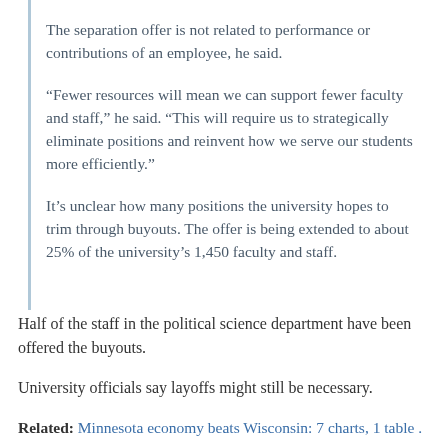The separation offer is not related to performance or contributions of an employee, he said.
“Fewer resources will mean we can support fewer faculty and staff,” he said. “This will require us to strategically eliminate positions and reinvent how we serve our students more efficiently.”
It’s unclear how many positions the university hopes to trim through buyouts. The offer is being extended to about 25% of the university’s 1,450 faculty and staff.
Half of the staff in the political science department have been offered the buyouts.
University officials say layoffs might still be necessary.
Related: Minnesota economy beats Wisconsin: 7 charts, 1 table .